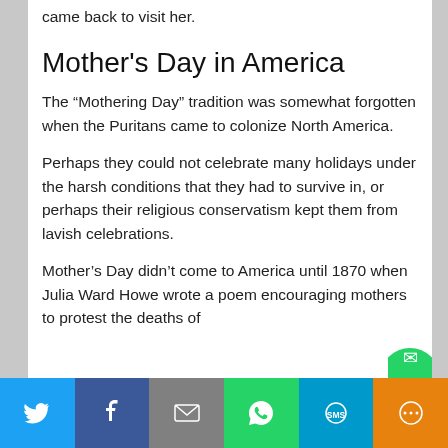came back to visit her.
Mother's Day in America
The “Mothering Day” tradition was somewhat forgotten when the Puritans came to colonize North America.
Perhaps they could not celebrate many holidays under the harsh conditions that they had to survive in, or perhaps their religious conservatism kept them from lavish celebrations.
Mother’s Day didn’t come to America until 1870 when Julia Ward Howe wrote a poem encouraging mothers to protest the deaths of
[Figure (infographic): Social media share bar at the bottom with Twitter, Facebook, Email, WhatsApp, SMS, and More buttons]